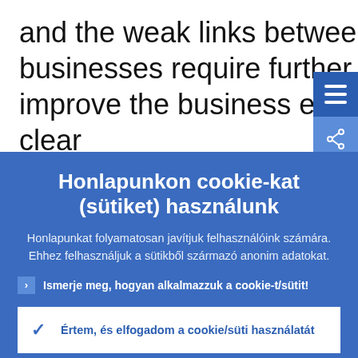and the weak links between universities and businesses require further action. While efforts to improve the business environment continue, it is not clear
Honlapunkon cookie-kat (sütiket) használunk
Honlapunkat folyamatosan javítjuk felhasználóink számára. Ehhez felhasználjuk a sütikből származó anonim adatokat.
Ismerje meg, hogyan alkalmazzuk a cookie-t/sütit!
Értem, és elfogadom a cookie/süti használatát
Visszautasítom a cookie/süti használatát